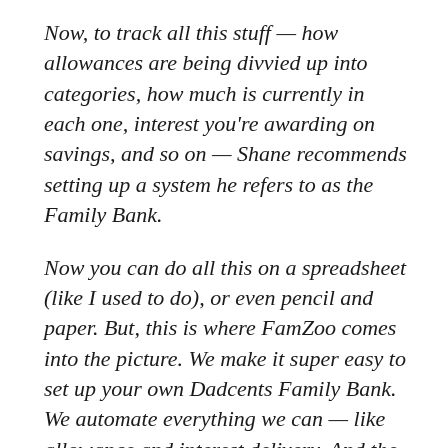Now, to track all this stuff — how allowances are being divvied up into categories, how much is currently in each one, interest you're awarding on savings, and so on — Shane recommends setting up a system he refers to as the Family Bank.
Now you can do all this on a spreadsheet (like I used to do), or even pencil and paper. But, this is where FamZoo comes into the picture. We make it super easy to set up your own Dadcents Family Bank. We automate everything we can — like allowance and interest delivery. And the cool thing is that you and your kids can access it